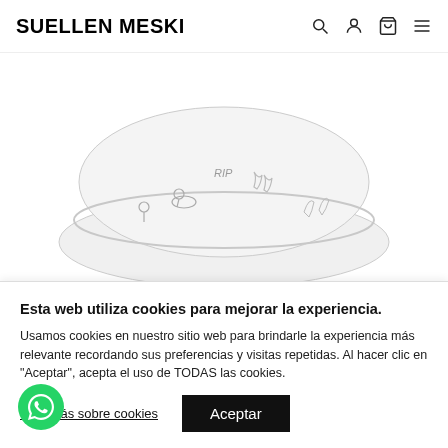SUELLEN MESKI
[Figure (photo): A white bucket hat with black line art illustrations of surfing characters, RIP text, and beach/nature motifs. Only the brim and lower portion of the hat is visible.]
Ripndip Sharpie Bucket Hat Light
Esta web utiliza cookies para mejorar la experiencia. Usamos cookies en nuestro sitio web para brindarle la experiencia más relevante recordando sus preferencias y visitas repetidas. Al hacer clic en "Aceptar", acepta el uso de TODAS las cookies.
Leer más sobre cookies
Aceptar